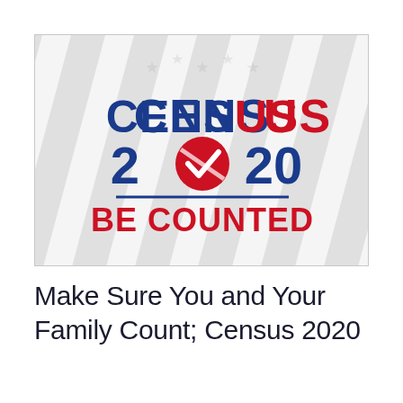[Figure (logo): Census 2020 Be Counted logo on a background featuring faded American flag stripes and stars. Text 'CENSUS' in blue and red, '2020' in blue with a red checkmark circle replacing the zero, 'BE COUNTED' in red below a blue horizontal line.]
Make Sure You and Your Family Count; Census 2020